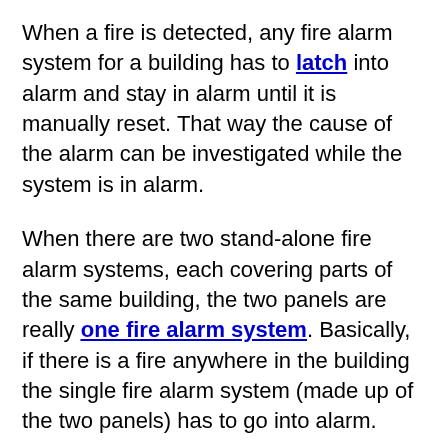When a fire is detected, any fire alarm system for a building has to latch into alarm and stay in alarm until it is manually reset. That way the cause of the alarm can be investigated while the system is in alarm.
When there are two stand-alone fire alarm systems, each covering parts of the same building, the two panels are really one fire alarm system. Basically, if there is a fire anywhere in the building the single fire alarm system (made up of the two panels) has to go into alarm.
What we have, if the two panels are stand-alone panels, is a "feedback loop." If panel 1 is in alarm, it sets off